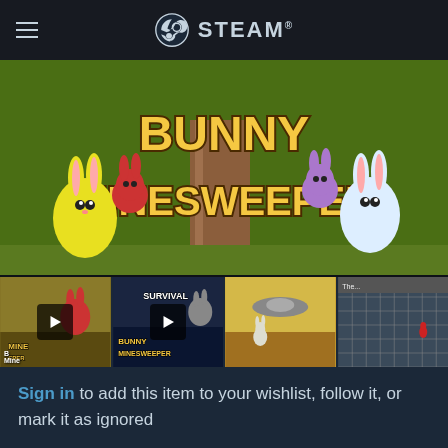STEAM
[Figure (screenshot): Bunny Minesweeper game hero banner image showing cartoon bunnies and game title logo on green background]
[Figure (screenshot): Four video thumbnail images in a strip: two with play buttons (Bunny Minesweeper trailers), one showing gameplay with flying saucer, one showing 3D grid]
Sign in to add this item to your wishlist, follow it, or mark it as ignored
[Figure (infographic): Two action buttons: share/upload icon and flag icon, both in blue-teal color]
Buy Bunny Minesweeper